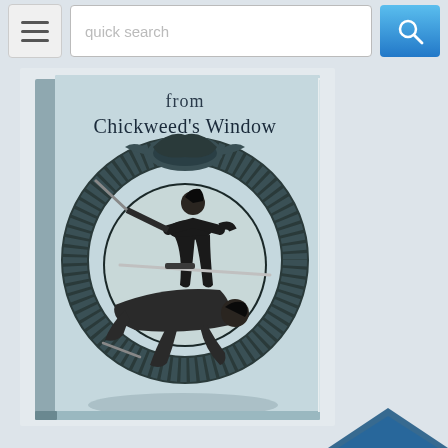[Figure (screenshot): Website screenshot showing a navigation bar with hamburger menu, search box with placeholder 'quick search', and a blue search button with magnifying glass icon. Below is a book cover image for 'from Chickweed's Window' featuring two samurai warriors in combat within a circular dragon border, in black and white/teal tones. The right side shows a light gray sidebar area.]